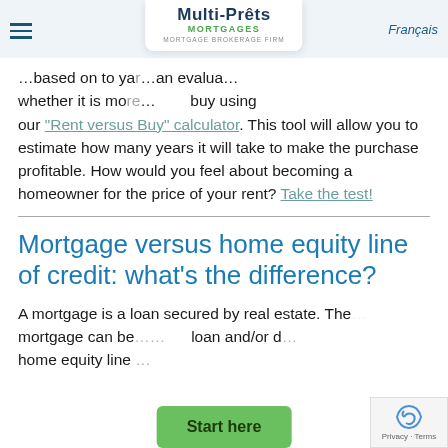Multi-Prêts Mortgages | Mortgage Brokerage Firm | Français
...based on to your...an evaluation whether it is more or less expensive to buy using our "Rent versus Buy" calculator. This tool will allow you to estimate how many years it will take to make the purchase profitable. How would you feel about becoming a homeowner for the price of your rent? Take the test!
Mortgage versus home equity line of credit: what's the difference?
A mortgage is a loan secured by real estate. The mortgage can be... loan and/or a home equity line...